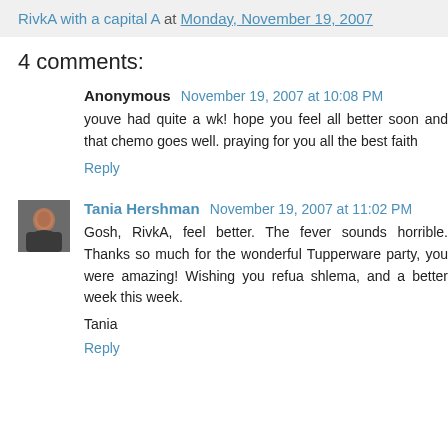RivkA with a capital A at Monday, November 19, 2007
4 comments:
Anonymous November 19, 2007 at 10:08 PM
youve had quite a wk! hope you feel all better soon and that chemo goes well. praying for you all the best faith
Reply
Tania Hershman November 19, 2007 at 11:02 PM
Gosh, RivkA, feel better. The fever sounds horrible. Thanks so much for the wonderful Tupperware party, you were amazing! Wishing you refua shlema, and a better week this week.

Tania
Reply